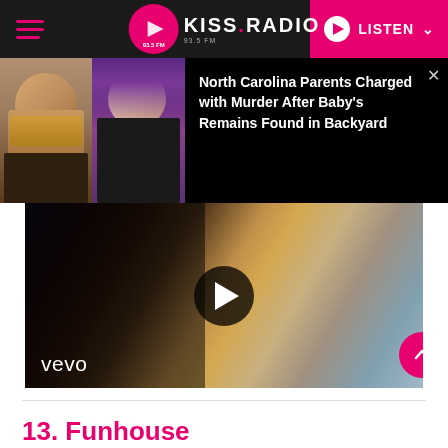KISS RADIO 93.5 FM — LISTEN
[Figure (photo): News article banner showing two mugshot photos (man with red beard, woman with purple hair) on black background with headline text: North Carolina Parents Charged with Murder After Baby's Remains Found in Backyard, with close X button]
North Carolina Parents Charged with Murder After Baby's Remains Found in Backyard
[Figure (screenshot): Vevo music video player showing a close-up of a blonde curly-haired person with dramatic makeup, with a large play button overlay and vevo logo in the bottom left. Pink scroll-up button at bottom right.]
13. Funhouse